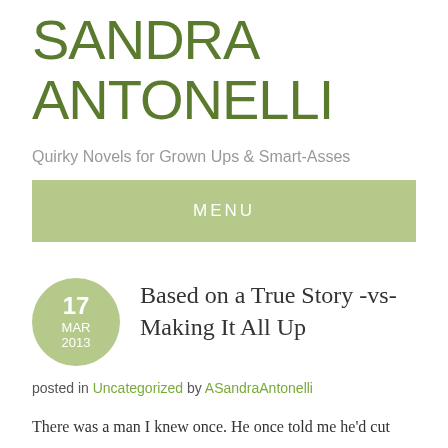SANDRA ANTONELLI
Quirky Novels for Grown Ups & Smart-Asses
MENU
[Figure (other): Date circle badge showing 17 MAR 2013]
Based on a True Story -vs- Making It All Up
posted in Uncategorized by ASandraAntonelli
There was a man I knew once. He once told me he'd cut